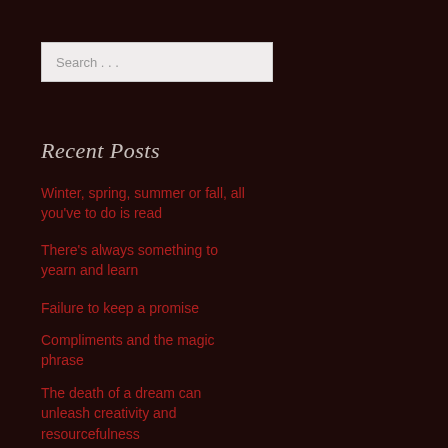Search . . .
Recent Posts
Winter, spring, summer or fall, all you've to do is read
There's always something to yearn and learn
Failure to keep a promise
Compliments and the magic phrase
The death of a dream can unleash creativity and resourcefulness